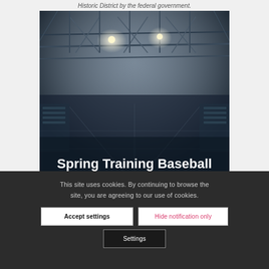Historic District by the federal government.
[Figure (photo): Interior view of a domed sports stadium with structural roof trusses and bright lights, dark atmospheric tones. Overlaid text reads 'Spring Training Baseball'.]
This site uses cookies. By continuing to browse the site, you are agreeing to our use of cookies.
Accept settings
Hide notification only
Settings